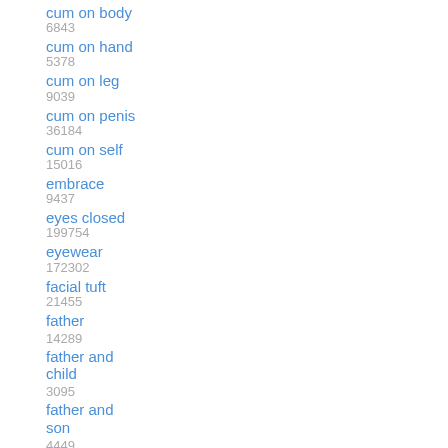cum on body 6843
cum on hand 5378
cum on leg 9039
cum on penis 36184
cum on self 15016
embrace 9437
eyes closed 199754
eyewear 172302
facial tuft 21455
father 14289
father and child 3095
father and son 4449
father penetrating son 132
fox 254144
fox mccloud 8161
fucked silly